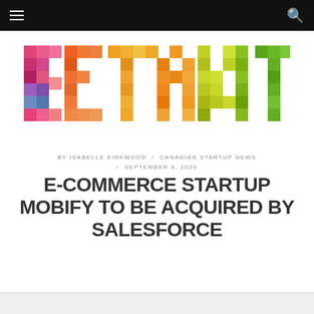betakit navigation bar
[Figure (logo): BetaKit logo — colorful pixel/mosaic style lettering spelling 'betakit' in multicolored triangular tile pattern, with pinks, oranges, yellows, greens, and purples]
BY ISABELLE KIRKWOOD / CANADIAN STARTUP NEWS / SEPTEMBER 8, 2020
E-COMMERCE STARTUP MOBIFY TO BE ACQUIRED BY SALESFORCE